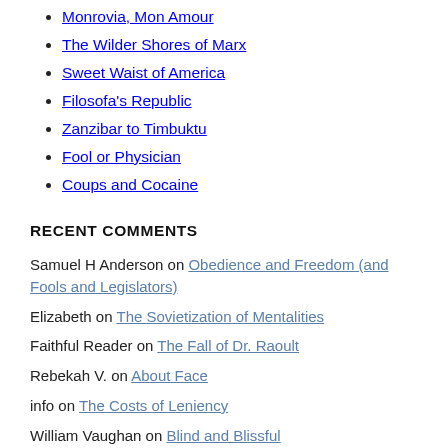Monrovia, Mon Amour
The Wilder Shores of Marx
Sweet Waist of America
Filosofa's Republic
Zanzibar to Timbuktu
Fool or Physician
Coups and Cocaine
RECENT COMMENTS
Samuel H Anderson on Obedience and Freedom (and Fools and Legislators)
Elizabeth on The Sovietization of Mentalities
Faithful Reader on The Fall of Dr. Raoult
Rebekah V. on About Face
info on The Costs of Leniency
William Vaughan on Blind and Blissful